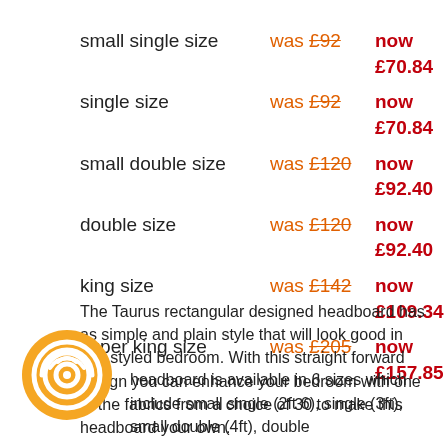small single size  was £92  now £70.84
single size  was £92  now £70.84
small double size  was £120  now £92.40
double size  was £120  now £92.40
king size  was £142  now £109.34
super king size  was £205  now £157.85
The Taurus rectangular designed headboard has as simple and plain style that will look good in any styled bedroom. With this straight forward design you can enhance your bedroom with one of the fabrics from a choice of 30 to make this headboard your own.
headboard is available in 6 sizes which include small single (2ft 6), single (3ft), small double (4ft), double